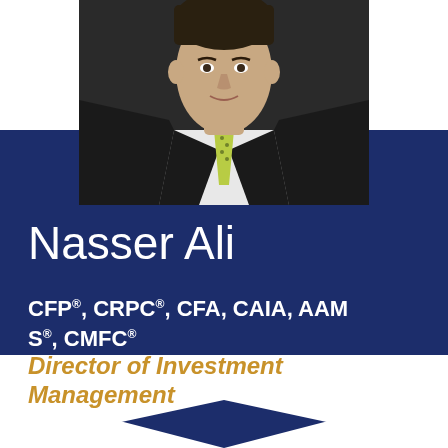[Figure (photo): Professional headshot of Nasser Ali wearing dark suit and light green tie, cropped above shoulders]
Nasser Ali
CFP®, CRPC®, CFA, CAIA, AAMS®, CMFC®
Director of Investment Management